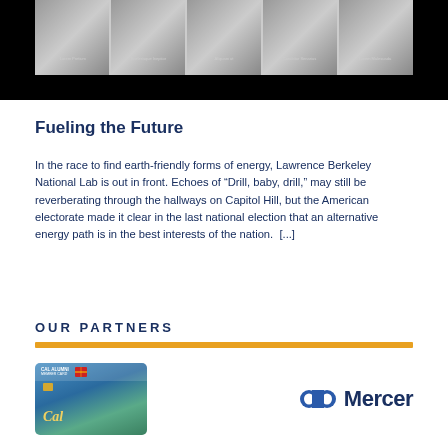[Figure (photo): A horizontal strip of five animal or wildlife photos displayed against a black background, with small captions beneath each photo.]
Fueling the Future
In the race to find earth-friendly forms of energy, Lawrence Berkeley National Lab is out in front. Echoes of “Drill, baby, drill,” may still be reverberating through the hallways on Capitol Hill, but the American electorate made it clear in the last national election that an alternative energy path is in the best interests of the nation. [...]
OUR PARTNERS
[Figure (logo): Cal Alumni credit card logo (Wells Fargo bank card with Cal Alumni / UC Berkeley branding)]
[Figure (logo): Mercer logo — blue oval icon with Mercer wordmark in dark navy]